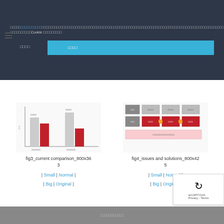[Figure (screenshot): Cookie consent banner with dark background, text in Japanese with a blue link, decline and accept buttons]
fig1_
[Figure (bar-chart): fig3_current comparison_800x363 - bar chart with grey and red bars]
fig3_current comparison_800x363
| Small | Normal | | Big | Original |
[Figure (flowchart): fig4_issues and solutions_800x425 - flowchart/diagram with boxes and red/grey elements]
fig4_issues and solutions_800x425
| Small | Normal | | Big | Original |
フッターテキスト